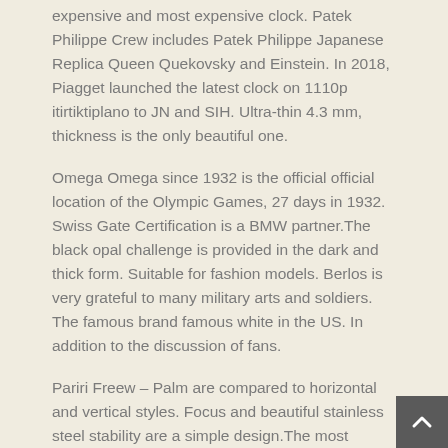expensive and most expensive clock. Patek Philippe Crew includes Patek Philippe Japanese Replica Queen Quekovsky and Einstein. In 2018, Piagget launched the latest clock on 1110p itirtiktiplano to JN and SIH. Ultra-thin 4.3 mm, thickness is the only beautiful one.
Omega Omega since 1932 is the official official location of the Olympic Games, 27 days in 1932. Swiss Gate Certification is a BMW partner.The black opal challenge is provided in the dark and thick form. Suitable for fashion models. Berlos is very grateful to many military arts and soldiers. The famous brand famous white in the US. In addition to the discussion of fans.
Pariri Freew – Palm are compared to horizontal and vertical styles. Focus and beautiful stainless steel stability are a simple design.The most sophisticated technology and equipment are run again to increase the palette.
Suitable for discussion and free time. In addition to your local time,